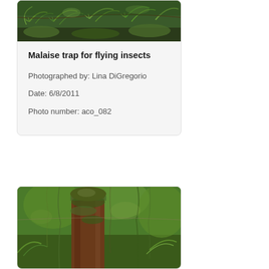[Figure (photo): Forest floor photograph showing green ferns and moss-covered ground with fallen branches, for Malaise trap context]
Malaise trap for flying insects
Photographed by: Lina DiGregorio
Date: 6/8/2011
Photo number: aco_082
[Figure (photo): Moss-covered tree stump or trunk in a lush green forest with ferns and hanging moss in the background]